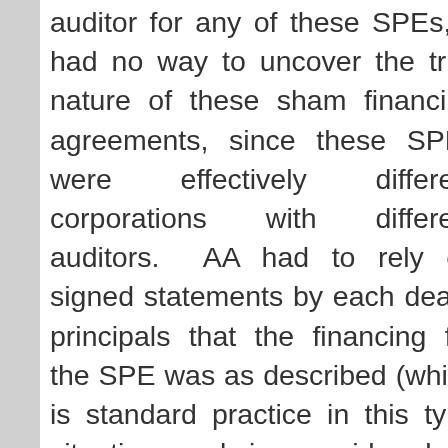auditor for any of these SPEs, it had no way to uncover the true nature of these sham financing agreements, since these SPEs were effectively different corporations with different auditors.  AA had to rely on signed statements by each deal's principals that the financing for the SPE was as described (which is standard practice in this type situation and is considered to represent adequate due dilligence). Anderson had no way to know what was going on in the SPE's, and since the SPE's were separate legal entities from E...